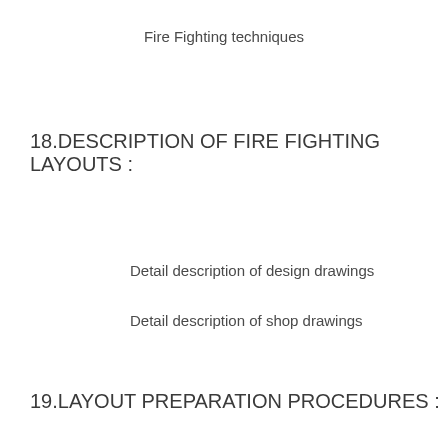Fire Fighting techniques
18.DESCRIPTION OF FIRE FIGHTING LAYOUTS :
Detail description of design drawings
Detail description of shop drawings
19.LAYOUT PREPARATION PROCEDURES :